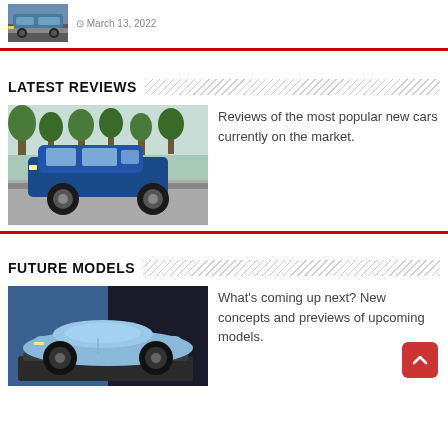[Figure (photo): Blue sedan car driving on road, thumbnail image]
March 13, 2022
LATEST REVIEWS
[Figure (photo): Blue Subaru Forester SUV parked in a lot with trees in background]
Reviews of the most popular new cars currently on the market.
FUTURE MODELS
[Figure (photo): Light blue concept sports car convertible on dark stage display]
What's coming up next? New concepts and previews of upcoming models.